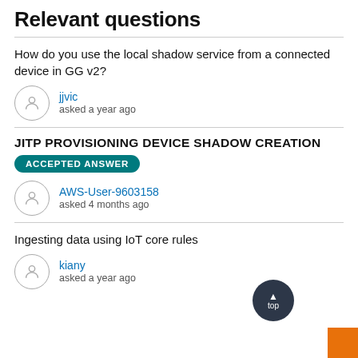Relevant questions
How do you use the local shadow service from a connected device in GG v2?
jjvic asked a year ago
JITP PROVISIONING DEVICE SHADOW CREATION
ACCEPTED ANSWER
AWS-User-9603158 asked 4 months ago
Ingesting data using IoT core rules
kiany asked a year ago